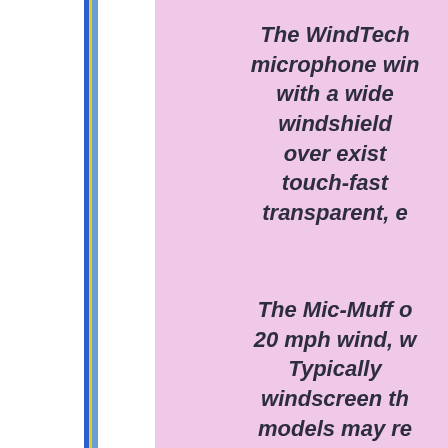The WindTech microphone win with a wide windshield over exist touch-fast transparent, e
The Mic-Muff o 20 mph wind, w Typically windscreen th models may re performance o BG Series of